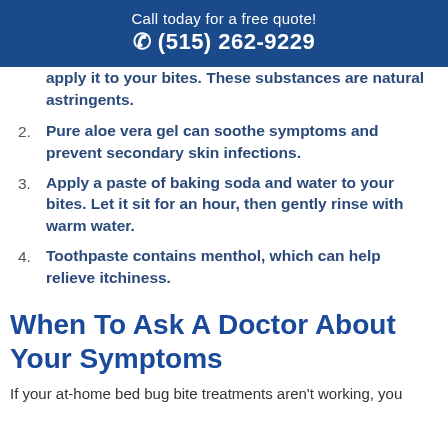Call today for a free quote!
☎ (515) 262-9229
apply it to your bites. These substances are natural astringents.
2. Pure aloe vera gel can soothe symptoms and prevent secondary skin infections.
3. Apply a paste of baking soda and water to your bites. Let it sit for an hour, then gently rinse with warm water.
4. Toothpaste contains menthol, which can help relieve itchiness.
When To Ask A Doctor About Your Symptoms
If your at-home bed bug bite treatments aren't working, you